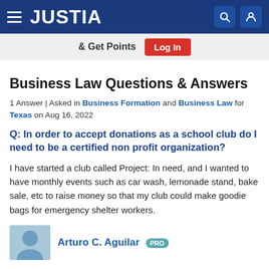JUSTIA
& Get Points  Log In
Business Law Questions & Answers
1 Answer | Asked in Business Formation and Business Law for Texas on Aug 16, 2022
Q: In order to accept donations as a school club do I need to be a certified non profit organization?
I have started a club called Project: In need, and I wanted to have monthly events such as car wash, lemonade stand, bake sale, etc to raise money so that my club could make goodie bags for emergency shelter workers.
Arturo C. Aguilar  PRO